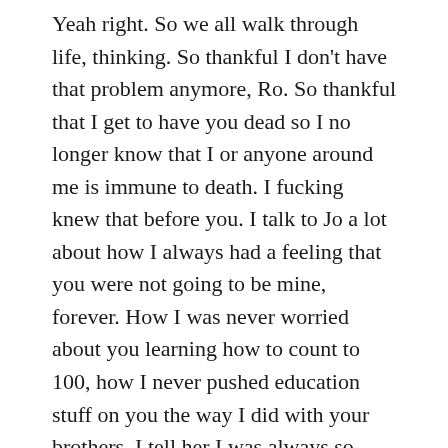Yeah right. So we all walk through life, thinking. So thankful I don't have that problem anymore, Ro. So thankful that I get to have you dead so I no longer know that I or anyone around me is immune to death. I fucking knew that before you. I talk to Jo a lot about how I always had a feeling that you were not going to be mine, forever. How I was never worried about you learning how to count to 100, how I never pushed education stuff on you the way I did with your brothers. I tell her I was always so happy and thankful for the exact moments we lived in. Not the next day moments. Not even the future. Just the present. Just when you were mine and I was yours in that exact second of the day. It made for the best/funnest life in the world. It made for the happiest life I've ever felt by just being with you. JUST BEING. There were no expectations. Everything was so pure and organic and real. It was just us and we really did whatever you wanted. You wanted to wash